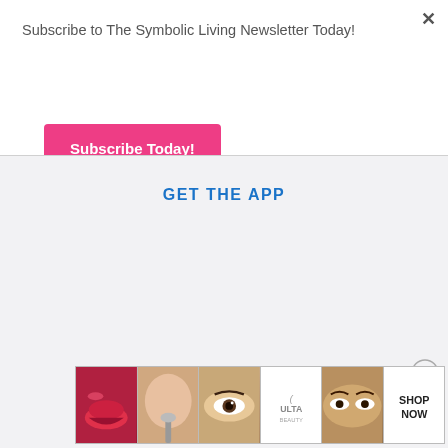Subscribe to The Symbolic Living Newsletter Today!
Subscribe Today!
GET THE APP
[Figure (illustration): Ulta Beauty advertisement strip showing beauty product images including lips, makeup brush, eye, Ulta logo, eyes with makeup, and a Shop Now button.]
Advertisements